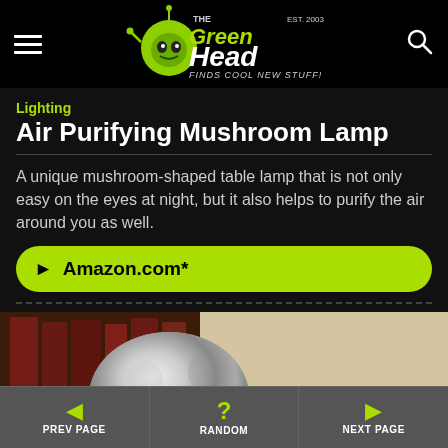[Figure (logo): The Green Head website logo — green alien head mascot with text 'THE GreenHead FINDS COOL NEW STUFF!' EST. 2003]
Lighting
Air Purifying Mushroom Lamp
A unique mushroom-shaped table lamp that is not only easy on the eyes at night, but it also helps to purify the air around you as well.
► Amazon.com*
[Figure (photo): Close-up photo of a silver/chrome mushroom-shaped lamp base with books visible in the background]
◄ PREV PAGE | ? RANDOM | ► NEXT PAGE